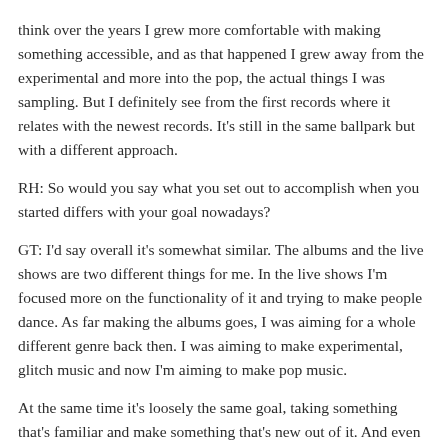think over the years I grew more comfortable with making something accessible, and as that happened I grew away from the experimental and more into the pop, the actual things I was sampling. But I definitely see from the first records where it relates with the newest records. It's still in the same ballpark but with a different approach.
RH: So would you say what you set out to accomplish when you started differs with your goal nowadays?
GT: I'd say overall it's somewhat similar. The albums and the live shows are two different things for me. In the live shows I'm focused more on the functionality of it and trying to make people dance. As far making the albums goes, I was aiming for a whole different genre back then. I was aiming to make experimental, glitch music and now I'm aiming to make pop music.
At the same time it's loosely the same goal, taking something that's familiar and make something that's new out of it. And even with the new album when I'm trying to make something that's accessible, the ultimate goal is to make something like people have never heard before. Something you can listen to and enjoy but also is pushing things further and introducing things you may not be familiar with. So I think that goal is still the same - I still just want to make something creative, new; something that people will talk about and get people